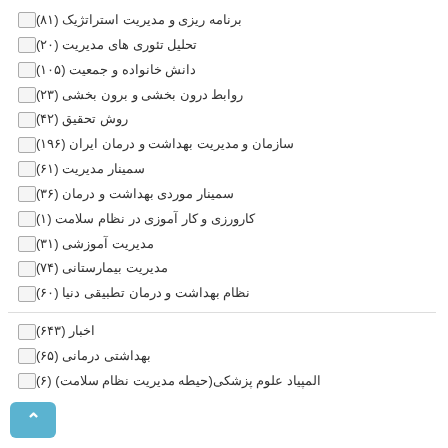برنامه ریزی و مدیریت استراتژیک (۸۱)
تحلیل تئوری های مدیریت (۲۰)
دانش خانواده و جمعیت (۱۰۵)
روابط درون بخشی و برون بخشی (۲۳)
روش تحقیق (۴۲)
سازمان و مدیریت بهداشت و درمان ایران (۱۹۶)
سمینار مدیریت (۶۱)
سمینار موردی بهداشت و درمان (۳۶)
کارورزی و کار آموزی در نظام سلامت (۱)
مدیریت آموزشی (۳۱)
مدیریت بیمارستانی (۷۴)
نظام بهداشت و درمان تطبیقی دنیا (۶۰)
اخبار (۶۴۳)
بهداشتی درمانی (۶۵)
المپیاد علوم پزشکی(حیطه مدیریت نظام سلامت) (۶)